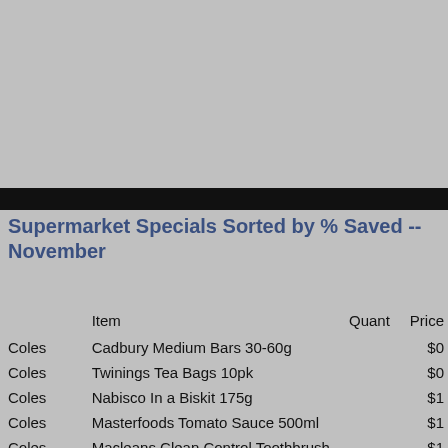Supermarket Specials Sorted by % Saved -- November
|  | Item | Quant | Price |
| --- | --- | --- | --- |
| Coles | Cadbury Medium Bars 30-60g |  | $0 |
| Coles | Twinings Tea Bags 10pk |  | $0 |
| Coles | Nabisco In a Biskit 175g |  | $1 |
| Coles | Masterfoods Tomato Sauce 500ml |  | $1 |
| Coles | Macleans Clean Control Toothbrush 1pk |  | $1 |
| Woolies | Tip Top Raisin Toast 520g |  | $2 |
| Woolies | Nivea Women's Deodorant 100g |  | $2 |